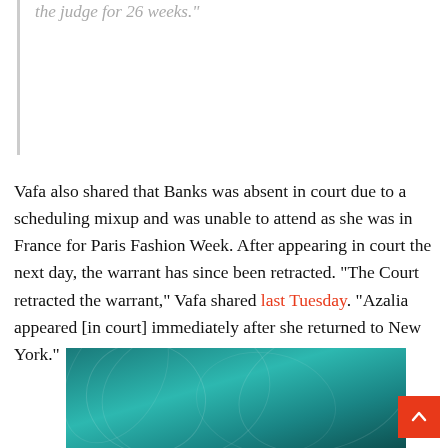the judge for 26 weeks.
Vafa also shared that Banks was absent in court due to a scheduling mixup and was unable to attend as she was in France for Paris Fashion Week. After appearing in court the next day, the warrant has since been retracted. “The Court retracted the warrant,” Vafa shared last Tuesday. “Azalia appeared [in court] immediately after she returned to New York.”
[Figure (photo): Teal/dark cyan advertisement banner image with abstract circular pattern lines]